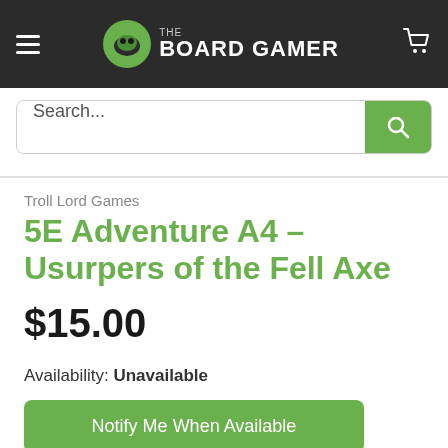THE BOARD GAMER
Search...
Troll Lord Games
5E Adventure A4 – Usurpers of the Fell Axe
$15.00
Availability: Unavailable
Notify Me When Available
Sorry, this product is not currently available to order